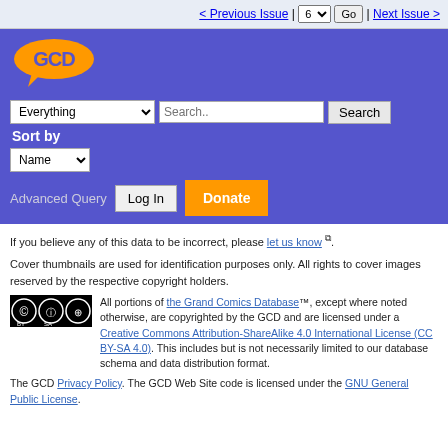< Previous Issue | 6 | Go | Next Issue >
[Figure (logo): GCD Grand Comics Database logo in orange on purple background]
Everything [dropdown] Search.. [input] Search Sort by Name [dropdown] Advanced Query Log In Donate
If you believe any of this data to be incorrect, please let us know.
Cover thumbnails are used for identification purposes only. All rights to cover images reserved by the respective copyright holders.
All portions of the Grand Comics Database™, except where noted otherwise, are copyrighted by the GCD and are licensed under a Creative Commons Attribution-ShareAlike 4.0 International License (CC BY-SA 4.0). This includes but is not necessarily limited to our database schema and data distribution format.
The GCD Privacy Policy. The GCD Web Site code is licensed under the GNU General Public License.